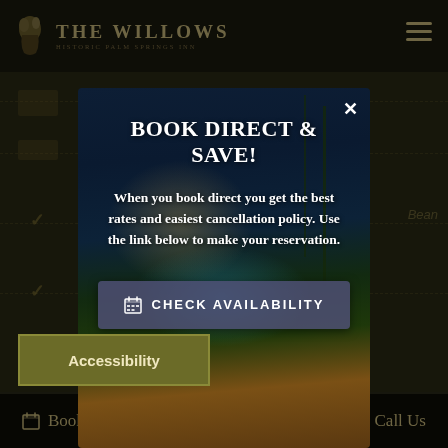THE WILLOWS Historic Palm Springs Inn
[Figure (screenshot): Background screenshot of The Willows hotel website with dark olive/dark theme, showing navigation elements and content rows]
BOOK DIRECT & SAVE!
When you book direct you get the best rates and easiest cancellation policy. Use the link below to make your reservation.
CHECK AVAILABILITY
Accessibility
Book Now   Call Us